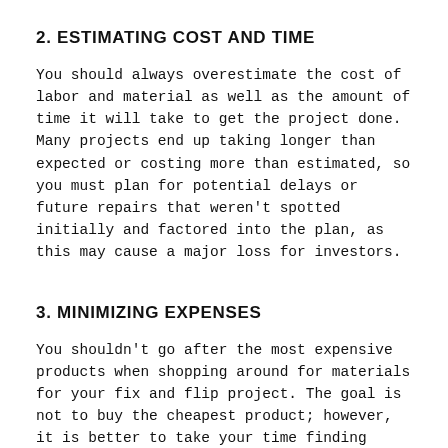2. ESTIMATING COST AND TIME
You should always overestimate the cost of labor and material as well as the amount of time it will take to get the project done. Many projects end up taking longer than expected or costing more than estimated, so you must plan for potential delays or future repairs that weren’t spotted initially and factored into the plan, as this may cause a major loss for investors.
3. MINIMIZING EXPENSES
You shouldn’t go after the most expensive products when shopping around for materials for your fix and flip project. The goal is not to buy the cheapest product; however, it is better to take your time finding competitive deals that fit your budget. The